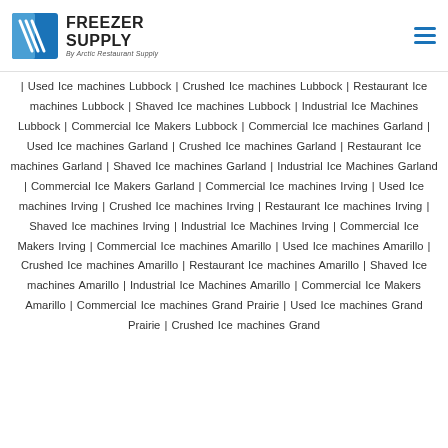FREEZER SUPPLY By Arctic Restaurant Supply
| Used Ice machines Lubbock | Crushed Ice machines Lubbock | Restaurant Ice machines Lubbock | Shaved Ice machines Lubbock | Industrial Ice Machines Lubbock | Commercial Ice Makers Lubbock | Commercial Ice machines Garland | Used Ice machines Garland | Crushed Ice machines Garland | Restaurant Ice machines Garland | Shaved Ice machines Garland | Industrial Ice Machines Garland | Commercial Ice Makers Garland | Commercial Ice machines Irving | Used Ice machines Irving | Crushed Ice machines Irving | Restaurant Ice machines Irving | Shaved Ice machines Irving | Industrial Ice Machines Irving | Commercial Ice Makers Irving | Commercial Ice machines Amarillo | Used Ice machines Amarillo | Crushed Ice machines Amarillo | Restaurant Ice machines Amarillo | Shaved Ice machines Amarillo | Industrial Ice Machines Amarillo | Commercial Ice Makers Amarillo | Commercial Ice machines Grand Prairie | Used Ice machines Grand Prairie | Crushed Ice machines Grand